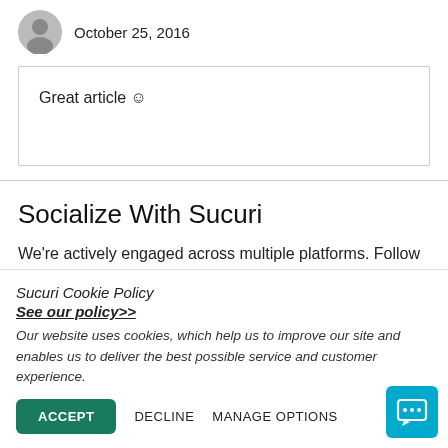Rou October 25, 2016
Great article ☺
Socialize With Sucuri
We're actively engaged across multiple platforms. Follow us and let's connect!
Sucuri Cookie Policy
See our policy>>
Our website uses cookies, which help us to improve our site and enables us to deliver the best possible service and customer experience.